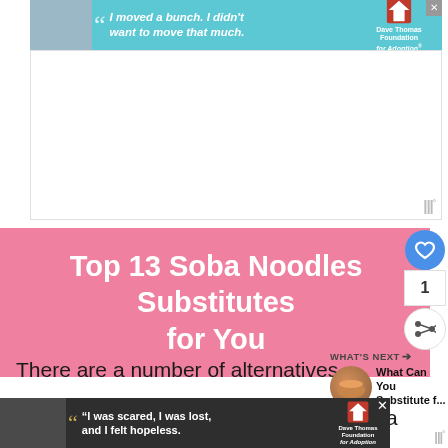[Figure (other): Top advertisement banner with teal background showing a boy, quote 'I moved a bunch. I didn't want to move that much.' and Dave Thomas Foundation for Adoption logo]
[Figure (other): White blank advertisement placeholder area with Wordmark logo in bottom right]
Top 13 Soba Noodles Substitutes for You
There are a number of alternatives to soba noodles that are easy to find and follow a similar...
[Figure (other): What's Next sidebar box with bowl image and text 'What Can You Substitute f...']
[Figure (other): Bottom dark advertisement banner with girl photo, quote 'I was scared, I was lost, and I felt hopeless.' and Dave Thomas Foundation for Adoption logo]